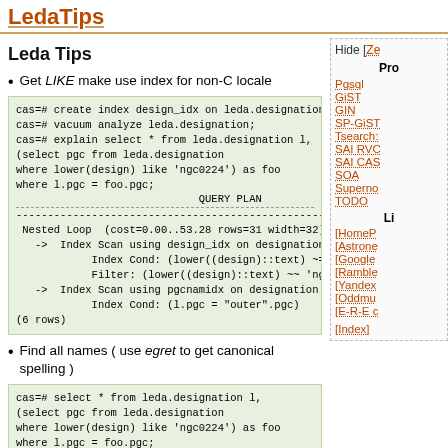LedaTips
Leda Tips
Get LIKE make use index for non-C locale
cas=# create index design_idx on leda.designation (l
cas=# vacuum analyze leda.designation;
cas=# explain select * from leda.designation l,
(select pgc from leda.designation
where lower(design) like 'ngc0224') as foo
where l.pgc = foo.pgc;
                              QUERY PLAN
--------------------------------------------------------------------
 Nested Loop  (cost=0.00..53.28 rows=31 width=32)
   ->  Index Scan using design_idx on designation (
             Index Cond: (lower((design)::text) ~=~ 'ngc
             Filter: (lower((design)::text) ~~ 'ngc0224'
   ->  Index Scan using pgcnamidx on designation l
             Index Cond: (l.pgc = "outer".pgc)
(6 rows)
Find all names ( use egret to get canonical spelling )
cas=# select * from leda.designation l,
(select pgc from leda.designation
where lower(design) like 'ngc0224') as foo
where l.pgc = foo.pgc;
 pgc  |          design           | flag | nc | pgc
------+---------------------------+------+----+-------